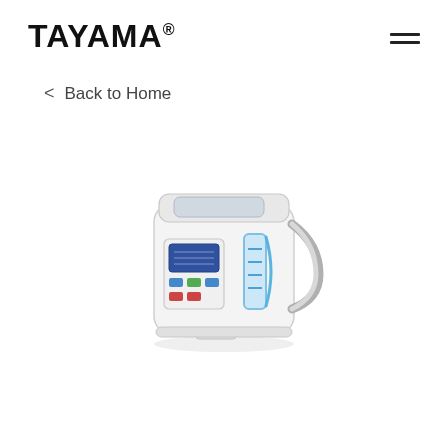TAYAMA®
< Back to Home
[Figure (photo): White Tayama electric hot water pot/dispenser with blue water level indicator window, control panel with buttons, and a carry handle on the right side, shown on a white background.]